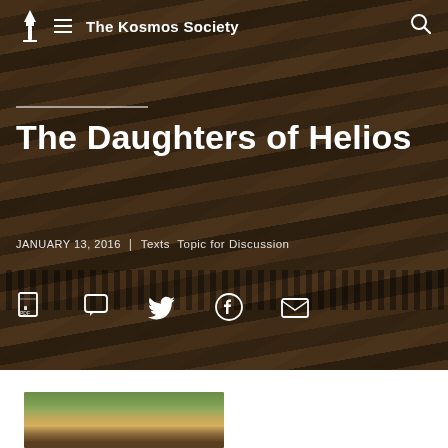The Kosmos Society
The Daughters of Helios
JANUARY 13, 2016  |  Texts  Topic for Discussion
[Figure (screenshot): Screenshot of The Kosmos Society website showing article header 'The Daughters of Helios' with a dark mosaic/rock strata background image, navigation bar, date/tag metadata, and share icons for PDF, comment, Twitter, Facebook, and email.]
[Figure (photo): Partial bottom image showing a landscape painting with green foliage and warm earth tones, cropped at the bottom of the page.]